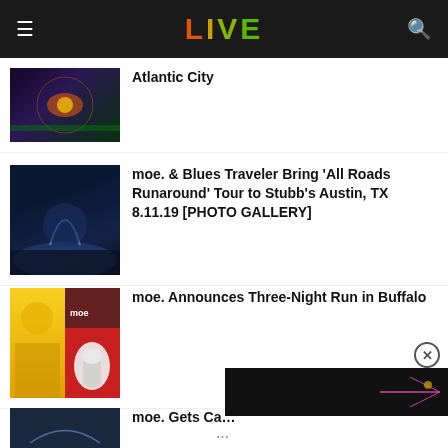LIVE
Atlantic City
moe. & Blues Traveler Bring ‘All Roads Runaround’ Tour to Stubb’s Austin, TX 8.11.19 [PHOTO GALLERY]
moe. Announces Three-Night Run in Buffalo
moe. Gets Ca…